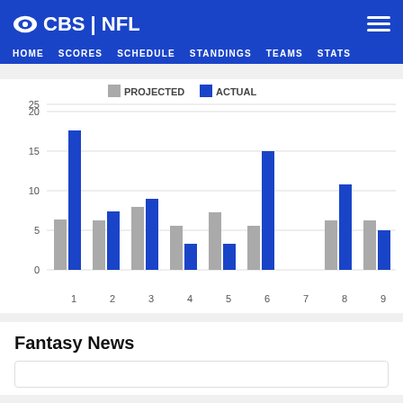CBS | NFL — HOME SCORES SCHEDULE STANDINGS TEAMS STATS
[Figure (grouped-bar-chart): ]
Fantasy News